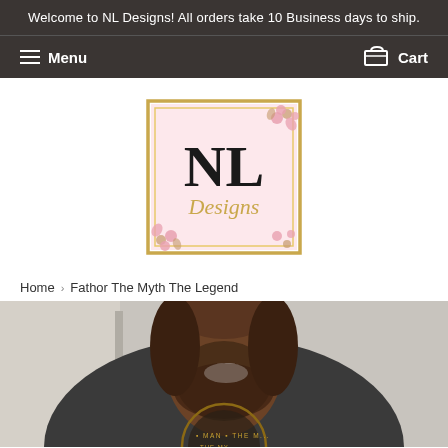Welcome to NL Designs! All orders take 10 Business days to ship.
Menu   Cart
[Figure (logo): NL Designs logo: pink square with gold border, large serif NL letters and script Designs text, pink floral decorations at corners]
Home › Fathor The Myth The Legend
[Figure (photo): Man wearing a dark grey t-shirt with circular graphic text including 'THE MYTH THE LEGEND' on the shirt, smiling, photographed from shoulders up]